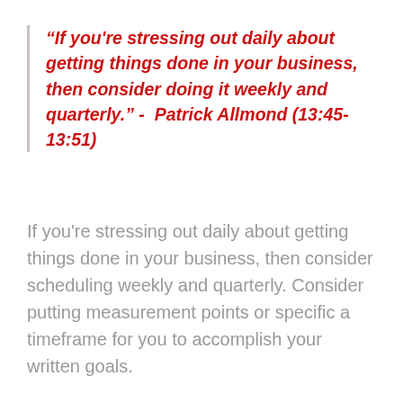“If you're stressing out daily about getting things done in your business, then consider doing it weekly and quarterly.” - Patrick Allmond (13:45-13:51)
If you're stressing out daily about getting things done in your business, then consider scheduling weekly and quarterly. Consider putting measurement points or specific a timeframe for you to accomplish your written goals.